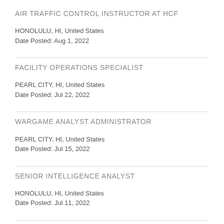AIR TRAFFIC CONTROL INSTRUCTOR AT HCF
HONOLULU, HI, United States
Date Posted: Aug 1, 2022
FACILITY OPERATIONS SPECIALIST
PEARL CITY, HI, United States
Date Posted: Jul 22, 2022
WARGAME ANALYST ADMINISTRATOR
PEARL CITY, HI, United States
Date Posted: Jul 15, 2022
SENIOR INTELLIGENCE ANALYST
HONOLULU, HI, United States
Date Posted: Jul 11, 2022
PROGRAM MANAGER
HONOLULU, HI, United States